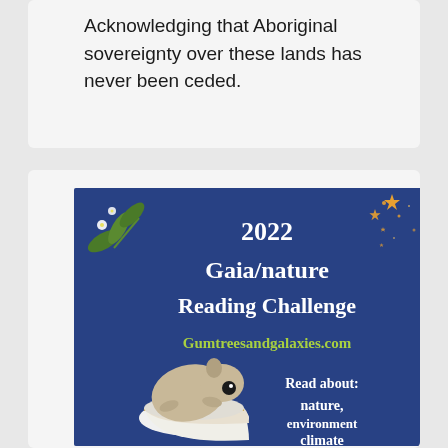Acknowledging that Aboriginal sovereignty over these lands has never been ceded.
[Figure (illustration): Promotional poster for the 2022 Gaia/nature Reading Challenge from Gumtreesandgalaxies.com. Dark blue background with stars, eucalyptus leaves in top left corner, a sugar glider sitting in a teacup, with text: '2022 Gaia/nature Reading Challenge', 'Gumtreesandgalaxies.com', 'Read about: nature, environment climate'.]